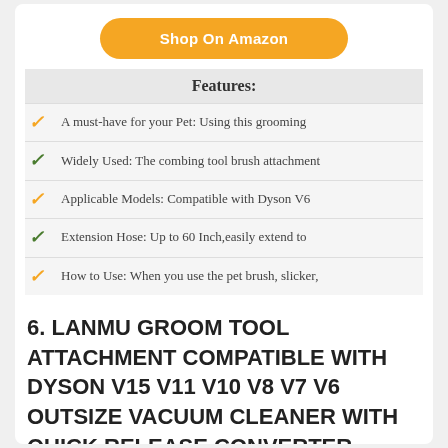[Figure (other): Orange rounded button with text 'Shop On Amazon']
| Features: |
| --- |
| ✓ | A must-have for your Pet: Using this grooming |
| ✓ | Widely Used: The combing tool brush attachment |
| ✓ | Applicable Models: Compatible with Dyson V6 |
| ✓ | Extension Hose: Up to 60 Inch,easily extend to |
| ✓ | How to Use: When you use the pet brush, slicker, |
6. LANMU GROOM TOOL ATTACHMENT COMPATIBLE WITH DYSON V15 V11 V10 V8 V7 V6 OUTSIZE VACUUM CLEANER WITH QUICK RELEASE CONVERTER ADAPTER